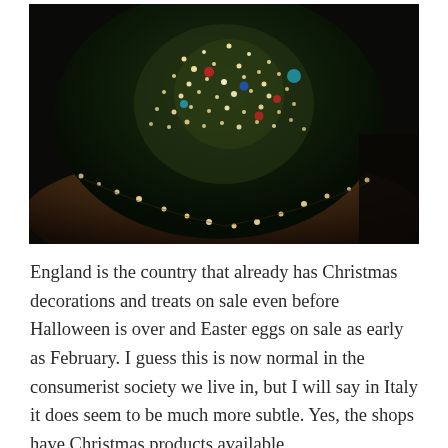[Figure (photo): A dark photograph of a decorated Christmas tree with many bright white fairy lights and colored ornaments, with string lights also spread on the floor around the base of the tree.]
England is the country that already has Christmas decorations and treats on sale even before Halloween is over and Easter eggs on sale as early as February. I guess this is now normal in the consumerist society we live in, but I will say in Italy it does seem to be much more subtle. Yes, the shops have Christmas products available